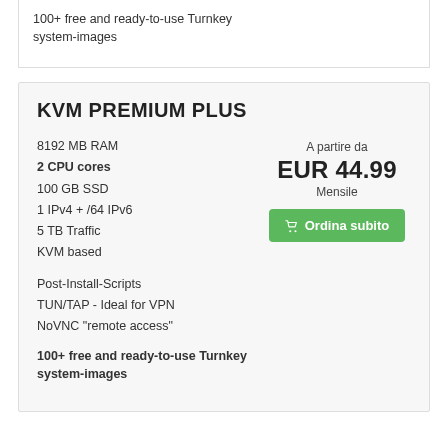100+ free and ready-to-use Turnkey system-images
KVM PREMIUM PLUS
8192 MB RAM
2 CPU cores
100 GB SSD
1 IPv4 + /64 IPv6
5 TB Traffic
KVM based
A partire da
EUR 44.99
Mensile
Ordina subito
Post-Install-Scripts
TUN/TAP - Ideal for VPN
NoVNC "remote access"
100+ free and ready-to-use Turnkey system-images